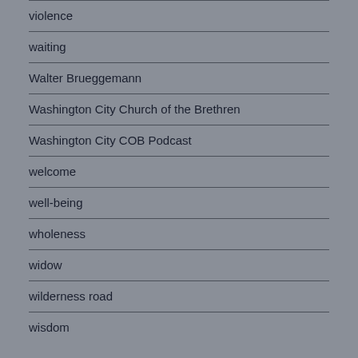violence
waiting
Walter Brueggemann
Washington City Church of the Brethren
Washington City COB Podcast
welcome
well-being
wholeness
widow
wilderness road
wisdom